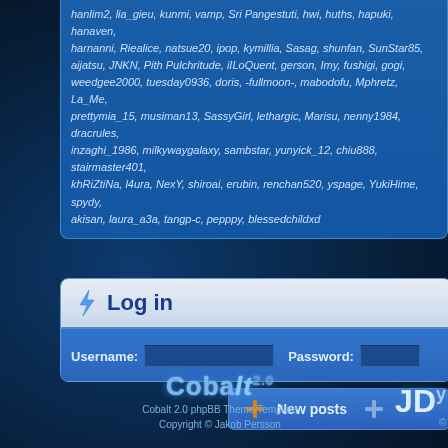hanlim2, lia_gieu, kunmi, vamp, Sri Pangestuti, hwi, huths, hapuki, hanaven, harnanni, Riealice, natsue20, ipop, kymillia, Sasag, shunfan, SunStar85, aijatsu, JNKN, Pith Pulchritude, iILoQuent, gerson, Imy, fushigi, gogi, weedgee2000, tuesday0936, doris, -fullmoon-, mabodofu, Mphretz, La_Me, prettymia_15, musiman13, SassyGirl, lethargic, Marisu, nenny1984, dracrules, inzaghi_1986, milkywaygalaxy, sambstar, yunyick_12, chiu888, stairmaster401, khRiZtiNa, l4ura, NexY, shiroai, erubin, renchan520, yspage, YukiHime, spydy, akisan, laura_a3a, tangp-c, pepppy, blessedchildxd
Log in
Username: [input] Password: [input]
New posts
Cobalt 2.0
Cobalt 2.0 phpBB Theme/Template
Copyright © Jakob Persson
JD